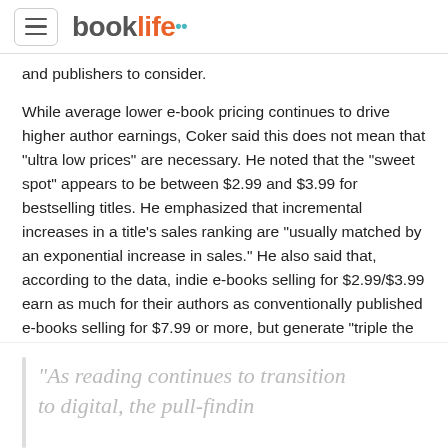booklife
and publishers to consider.
While average lower e-book pricing continues to drive higher author earnings, Coker said this does not mean that "ultra low prices" are necessary. He noted that the "sweet spot" appears to be between $2.99 and $3.99 for bestselling titles. He emphasized that incremental increases in a title’s sales ranking are "usually matched by an exponential increase in sales." He also said that, according to the data, indie e-books selling for $2.99/$3.99 earn as much for their authors as conventionally published e-books selling for $7.99 or more, but generate "triple the readership."
“As reading continues to transition to digital, the pull-findin...